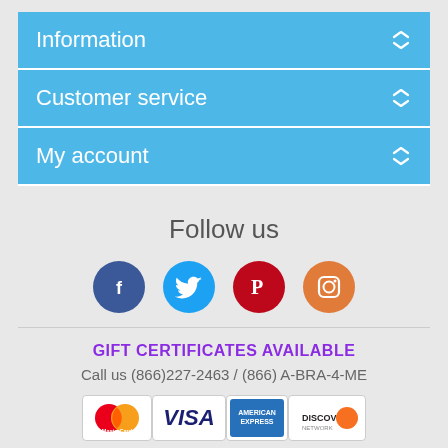Information
Customer service
My account
Follow us
[Figure (infographic): Social media icons: Facebook (dark blue circle with f), Twitter (light blue circle with bird), Pinterest (red circle with P), Instagram (orange circle with camera)]
GIFT CERTIFICATES AVAILABLE
Call us (866)227-2463 / (866) A-BRA-4-ME
[Figure (infographic): Payment method logos: MasterCard, VISA, American Express, Discover]